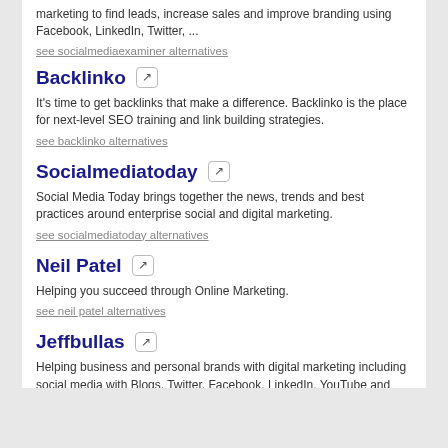marketing to find leads, increase sales and improve branding using Facebook, LinkedIn, Twitter, ...
see socialmediaexaminer alternatives
Backlinko
It's time to get backlinks that make a difference. Backlinko is the place for next-level SEO training and link building strategies.
see backlinko alternatives
Socialmediatoday
Social Media Today brings together the news, trends and best practices around enterprise social and digital marketing.
see socialmediatoday alternatives
Neil Patel
Helping you succeed through Online Marketing.
see neil patel alternatives
Jeffbullas
Helping business and personal brands with digital marketing including social media with Blogs, Twitter, Facebook, LinkedIn, YouTube and Search Engine ...
see jeffbullas alternatives